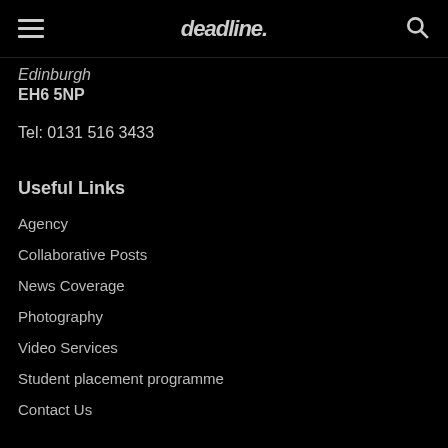deadline.
Edinburgh
EH6 5NP
Tel: 0131 516 3433
Useful Links
Agency
Collaborative Posts
News Coverage
Photography
Video Services
Student placement programme
Contact Us